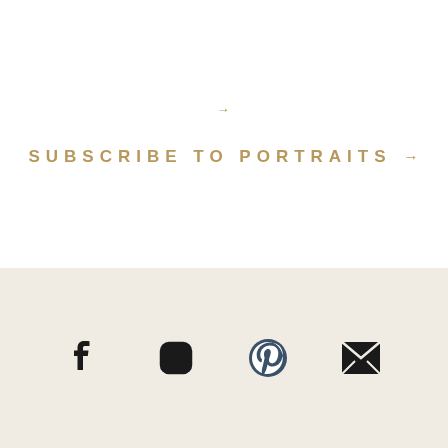→
SUBSCRIBE TO PORTRAITS →
[Figure (illustration): Four social media icons: Facebook, Instagram, Pinterest, and email/envelope, displayed horizontally on a beige background strip]